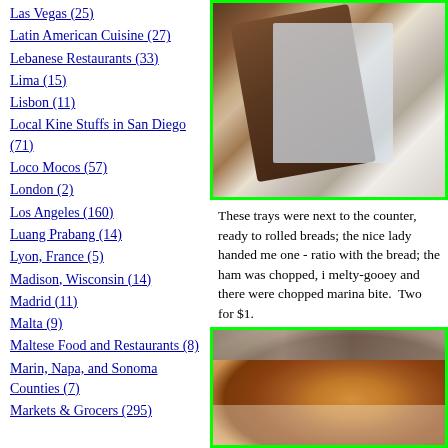Las Vegas (25)
Latin American Cuisine (27)
Lebanese Restaurants (33)
Lima (15)
Lisbon (11)
Local Kine Stuffs in San Diego (71)
Loco Mocos (57)
London (2)
Los Angeles (160)
Luang Prabang (14)
Lyon, France (5)
Madison, Wisconsin (14)
Madrid (11)
Malta (9)
Maltese Food and Restaurants (8)
Marin, Napa, and Sonoma Counties (7)
Markets & Grocers (295)
[Figure (photo): Photo of trays with wrapped bread rolls near a counter]
These trays were next to the counter, ready to rolled breads; the nice lady handed me one - ratio with the bread; the ham was chopped, i melty-gooey and there were chopped marina bite.  Two for $1.
[Figure (photo): Close-up photo of a baked bread roll or pastry, golden brown in color]